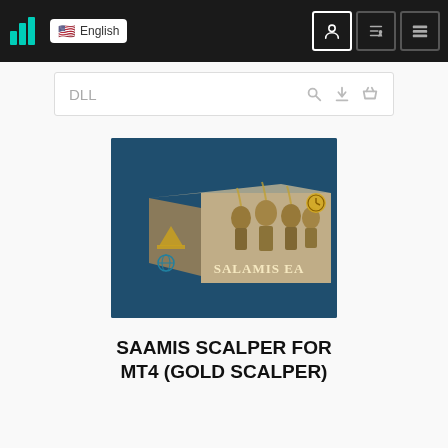NETPICK EA.COM | English | Navigation
DLL
[Figure (photo): Product box for Salamis EA, showing armored warriors on a dark teal/navy background box. The box reads 'SALAMIS EA' with a pyramid logo and a globe logo on the side.]
SAAMIS SCALPER FOR MT4 (GOLD SCALPER)